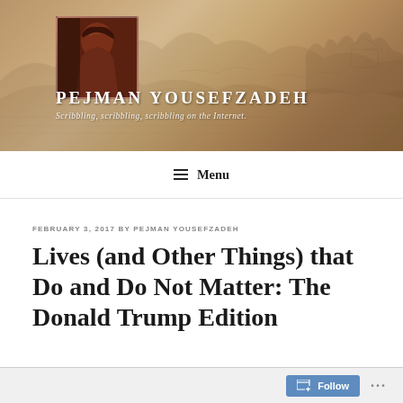[Figure (illustration): Blog header banner with sepia-toned landscape sketch background and portrait avatar image on left. Site title 'PEJMAN YOUSEFZADEH' and tagline 'Scribbling, scribbling, scribbling on the Internet.' overlaid on banner.]
PEJMAN YOUSEFZADEH
Scribbling, scribbling, scribbling on the Internet.
≡ Menu
FEBRUARY 3, 2017 BY PEJMAN YOUSEFZADEH
Lives (and Other Things) that Do and Do Not Matter: The Donald Trump Edition